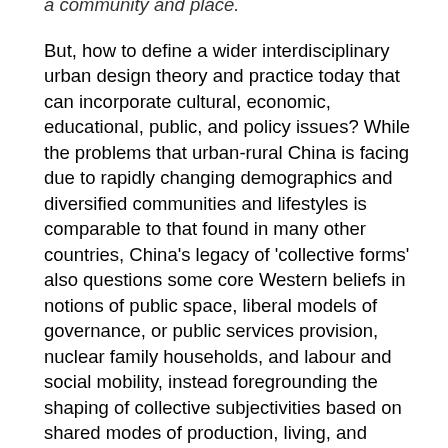a community and place. But, how to define a wider interdisciplinary urban design theory and practice today that can incorporate cultural, economic, educational, public, and policy issues? While the problems that urban-rural China is facing due to rapidly changing demographics and diversified communities and lifestyles is comparable to that found in many other countries, China's legacy of 'collective forms' also questions some core Western beliefs in notions of public space, liberal models of governance, or public services provision, nuclear family households, and labour and social mobility, instead foregrounding the shaping of collective subjectivities based on shared modes of production, living, and education. This raises the question of how China provides a significant counter-model to Western ideas of community-led developments, and how this can contribute to global discourses of community development? By discussing concrete studies and examples, the symposium will try to clarify what